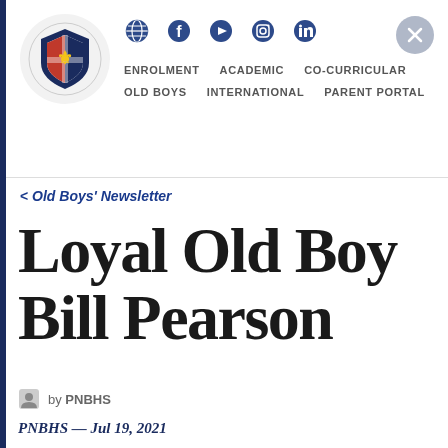ENROLMENT  ACADEMIC  CO-CURRICULAR  OLD BOYS  INTERNATIONAL  PARENT PORTAL
< Old Boys' Newsletter
Loyal Old Boy Bill Pearson
by PNBHS
PNBHS — Jul 19, 2021